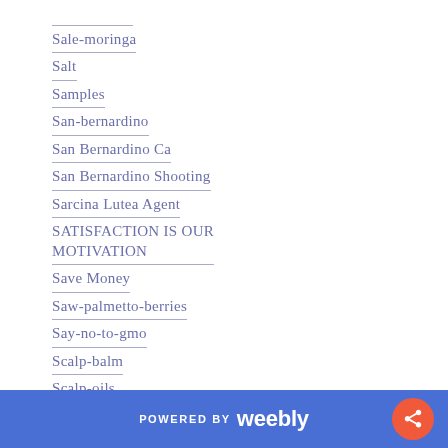Sale-moringa
Salt
Samples
San-bernardino
San Bernardino Ca
San Bernardino Shooting
Sarcina Lutea Agent
SATISFACTION IS OUR MOTIVATION
Save Money
Saw-palmetto-berries
Say-no-to-gmo
Scalp-balm
Scalp-oils
Schisandra
Schizophrenia
Scrapes
POWERED BY weebly